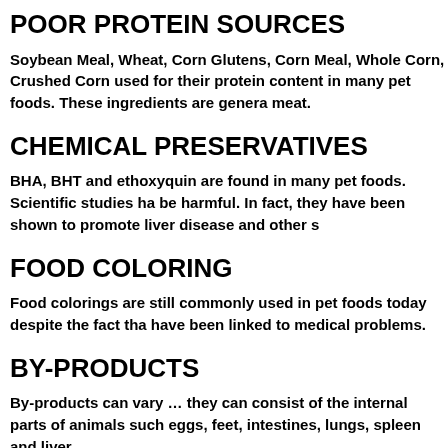POOR PROTEIN SOURCES
Soybean Meal, Wheat, Corn Glutens, Corn Meal, Whole Corn, Crushed Corn used for their protein content in many pet foods. These ingredients are generally meat.
CHEMICAL PRESERVATIVES
BHA, BHT and ethoxyquin are found in many pet foods. Scientific studies have be harmful. In fact, they have been shown to promote liver disease and other s
FOOD COLORING
Food colorings are still commonly used in pet foods today despite the fact that have been linked to medical problems.
BY-PRODUCTS
By-products can vary … they can consist of the internal parts of animals such eggs, feet, intestines, lungs, spleen and liver.